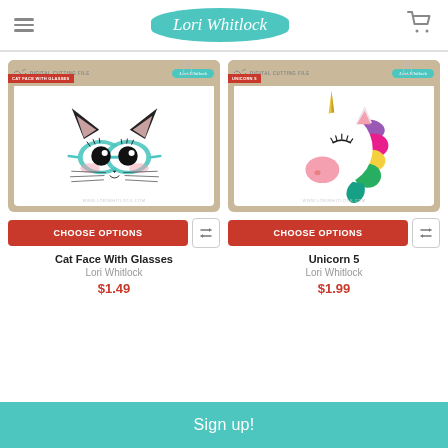Lori Whitlock
[Figure (illustration): Product card: Cat Face With Glasses digital cutting file by Lori Whitlock. Kraft paper packaging background with white inner area showing a cute cartoon cat face wearing teal glasses.]
[Figure (illustration): Product card: Unicorn 5 digital cutting file by Lori Whitlock. Kraft paper packaging background with white inner area showing a colorful cartoon unicorn head with rainbow mane.]
CHOOSE OPTIONS
CHOOSE OPTIONS
Cat Face With Glasses
Lori Whitlock
$1.49
Unicorn 5
Lori Whitlock
$1.99
Sign up!